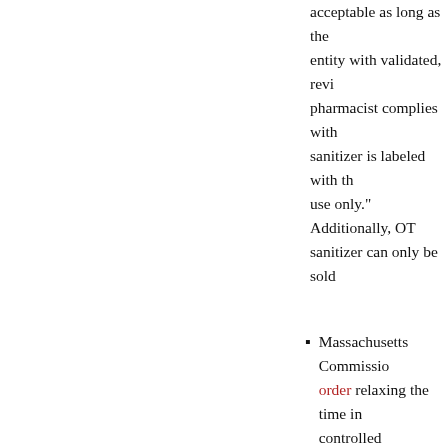acceptable as long as the entity with validated, revi pharmacist complies with sanitizer is labeled with th use only." Additionally, OT sanitizer can only be sold
Massachusetts Commissio order relaxing the time in controlled substances mu (previously 7 days, now 15
Board issued memo to lon regarding extension of tim stocking, and resealing of
Board released recommen if an employee is presume